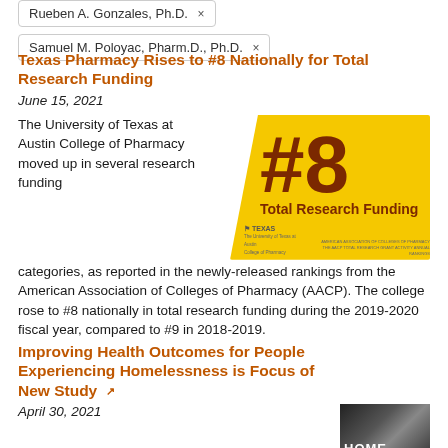Rueben A. Gonzales, Ph.D. ×
Samuel M. Poloyac, Pharm.D., Ph.D. ×
Texas Pharmacy Rises to #8 Nationally for Total Research Funding
June 15, 2021
[Figure (infographic): Yellow badge graphic with dark red text showing #8 Total Research Funding with UT Texas and AACP logos]
The University of Texas at Austin College of Pharmacy moved up in several research funding categories, as reported in the newly-released rankings from the American Association of Colleges of Pharmacy (AACP). The college rose to #8 nationally in total research funding during the 2019-2020 fiscal year, compared to #9 in 2018-2019.
Improving Health Outcomes for People Experiencing Homelessness is Focus of New Study ↗
April 30, 2021
[Figure (photo): Photo with HOME text overlay, appears to be a building or housing related image]